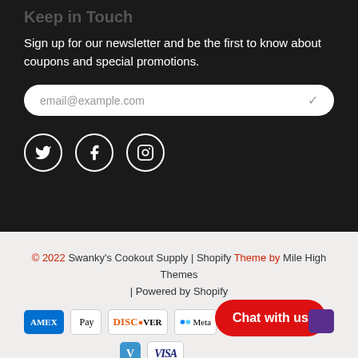Keep in Touch
Sign up for our newsletter and be the first to know about coupons and special promotions.
email@example.com
[Figure (illustration): Social media icons: Twitter, Facebook, Instagram in white circles on dark background]
© 2022 Swanky's Cookout Supply | Shopify Theme by Mile High Themes | Powered by Shopify
[Figure (illustration): Payment method icons: AMEX, Apple Pay, Discover, Meta, Google Pay, Venmo, Visa, and partial purple badge. Chat with us button overlay.]